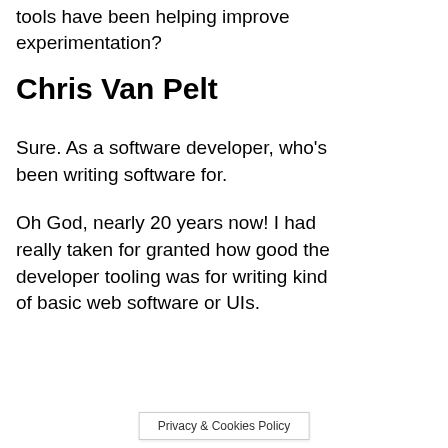tools have been helping improve experimentation?
Chris Van Pelt
Sure. As a software developer, who's been writing software for.
Oh God, nearly 20 years now! I had really taken for granted how good the developer tooling was for writing kind of basic web software or UIs.
Privacy & Cookies Policy